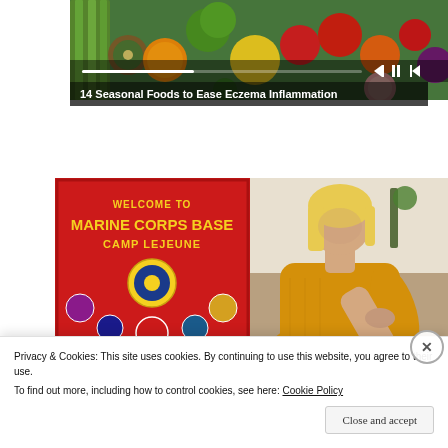[Figure (photo): Colorful display of fresh fruits and vegetables including celery, kiwi, oranges, bell peppers, tomatoes, and eggplant viewed from above]
14 Seasonal Foods to Ease Eczema Inflammation
[Figure (photo): Welcome to Marine Corps Base Camp Lejeune red sign with unit insignia badges]
[Figure (photo): Blonde woman in yellow sweater sitting on couch scratching her arm, eczema concept]
Privacy & Cookies: This site uses cookies. By continuing to use this website, you agree to their use.
To find out more, including how to control cookies, see here: Cookie Policy
Close and accept